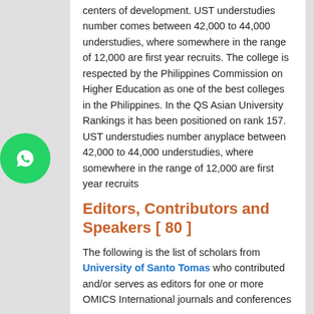centers of development. UST understudies number comes between 42,000 to 44,000 understudies, where somewhere in the range of 12,000 are first year recruits. The college is respected by the Philippines Commission on Higher Education as one of the best colleges in the Philippines. In the QS Asian University Rankings it has been positioned on rank 157. UST understudies number anyplace between 42,000 to 44,000 understudies, where somewhere in the range of 12,000 are first year recruits
Editors, Contributors and Speakers [ 80 ]
The following is the list of scholars from University of Santo Tomas who contributed and/or serves as editors for one or more OMICS International journals and conferences
Aeden Bernice Timbol
Aimee Kirsten A. Santos
Alexander F. Bautista